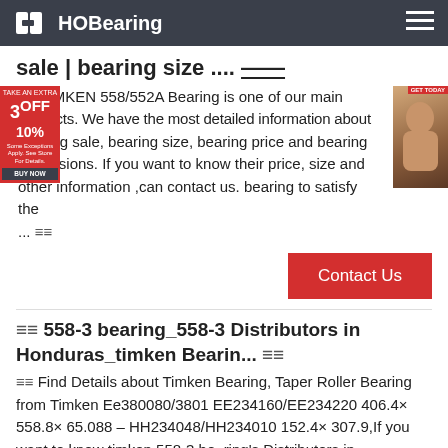HOBearing
sale | bearing size .... ——
≡≡ TIMKEN 558/552A Bearing is one of our main products. We have the most detailed information about bearing sale, bearing size, bearing price and bearing dimensions. If you want to know their price, size and other information ,can contact us. bearing to satisfy the ... ≡≡
[Figure (other): Advertisement overlay: red box with '3OFF 10%' discount text; right side photo advertisement]
Contact Us
≡≡ 558-3 bearing_558-3 Distributors in Honduras_timken Bearin... ≡≡
≡≡ Find Details about Timken Bearing, Taper Roller Bearing from Timken Ee380080/3801 EE234160/EE234220 406.4× 558.8× 65.088 – HH234048/HH234010 152.4× 307.9,If you want to know timken 558-3 bearing's Distributors in Honduras.Please contact us
[Figure (other): Blue contact button with smiley icon and 'contact' text; red Contact Us button below]